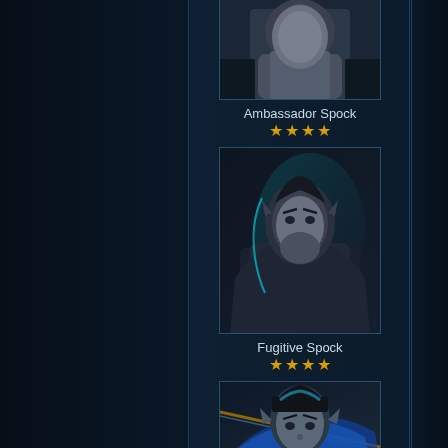[Figure (illustration): Ambassador Spock character portrait in gray outfit, partially cropped at top]
Ambassador Spock
★★★★
[Figure (illustration): Fugitive Spock character portrait with dark outfit and teal/cyan outline glow, bearded]
Fugitive Spock
★★★★
[Figure (illustration): Kolinahr Spock character portrait in blue outfit, partially cropped at bottom]
Kolinahr Spock (partial, cropped)